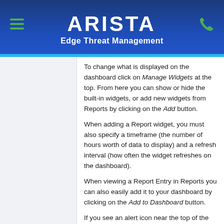ARISTA Edge Threat Management
To change what is displayed on the dashboard click on Manage Widgets at the top. From here you can show or hide the built-in widgets, or add new widgets from Reports by clicking on the Add button.
When adding a Report widget, you must also specify a timeframe (the number of hours worth of data to display) and a refresh interval (how often the widget refreshes on the dashboard).
When viewing a Report Entry in Reports you can also easily add it to your dashboard by clicking on the Add to Dashboard button.
If you see an alert icon near the top of the dashboard, hover over it for more information - these are Administrative Alerts designed to help you keep your NG Firewall healthy.
Appli...